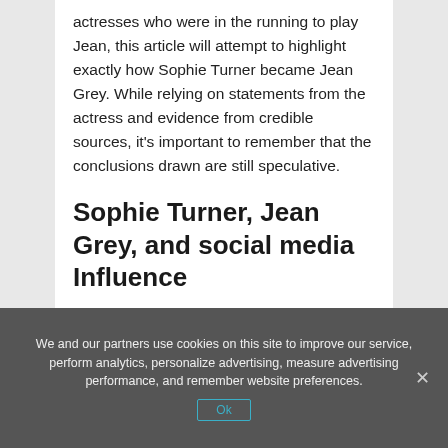actresses who were in the running to play Jean, this article will attempt to highlight exactly how Sophie Turner became Jean Grey. While relying on statements from the actress and evidence from credible sources, it's important to remember that the conclusions drawn are still speculative.
Sophie Turner, Jean Grey, and social media Influence
We and our partners use cookies on this site to improve our service, perform analytics, personalize advertising, measure advertising performance, and remember website preferences.